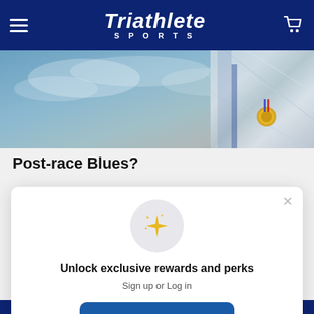Triathlete SPORTS
[Figure (photo): Hero image showing a person wearing a foil blanket with a medal around their neck, against a cloudy sky background]
Post-race Blues?
[Figure (screenshot): Popup modal with sparkle icon, 'Unlock exclusive rewards and perks' heading, Sign up or Log in subtitle, Sign up button, and Already have an account? Sign in link]